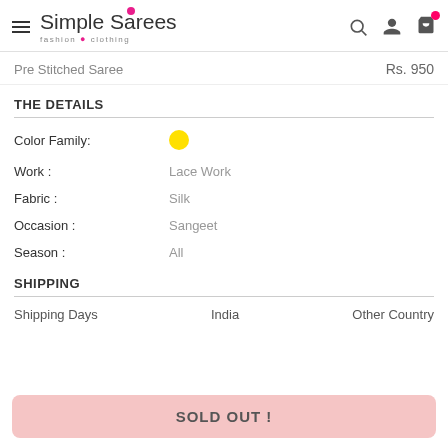Simple Sarees fashion · clothing
Pre Stitched Saree   Rs. 950
THE DETAILS
Color Family:  [yellow dot]
Work :  Lace Work
Fabric :  Silk
Occasion :  Sangeet
Season :  All
SHIPPING
Shipping Days   India   Other Country
SOLD OUT !